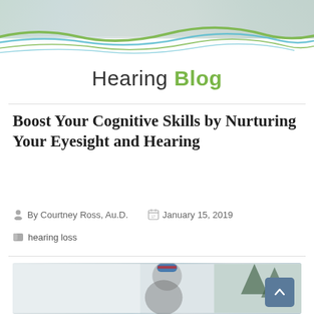[Figure (photo): Website header banner with decorative wavy lines in green and teal colors, with partial view of people (family group) in background]
Hearing Blog
Boost Your Cognitive Skills by Nurturing Your Eyesight and Hearing
By Courtney Ross, Au.D.    January 15, 2019
hearing loss
[Figure (photo): Winter outdoor scene showing an adult carrying a child wearing a blue and red striped knit hat, with another person in a pink hat, snowy background with pine trees]